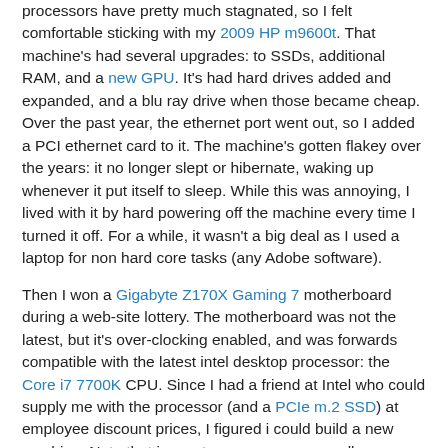processors have pretty much stagnated, so I felt comfortable sticking with my 2009 HP m9600t. That machine's had several upgrades: to SSDs, additional RAM, and a new GPU. It's had hard drives added and expanded, and a blu ray drive when those became cheap. Over the past year, the ethernet port went out, so I added a PCI ethernet card to it. The machine's gotten flakey over the years: it no longer slept or hibernate, waking up whenever it put itself to sleep. While this was annoying, I lived with it by hard powering off the machine every time I turned it off. For a while, it wasn't a big deal as I used a laptop for non hard core tasks (any Adobe software).
Then I won a Gigabyte Z170X Gaming 7 motherboard during a web-site lottery. The motherboard was not the latest, but it's over-clocking enabled, and was forwards compatible with the latest intel desktop processor: the Core i7 7700K CPU. Since I had a friend at Intel who could supply me with the processor (and a PCIe m.2 SSD) at employee discount prices, I figured i could build a new machine. Note that in most cases you can usually purchase equivalent machines from Dell or some other white label device at a better price than putting it all together yourself. The one perfect...